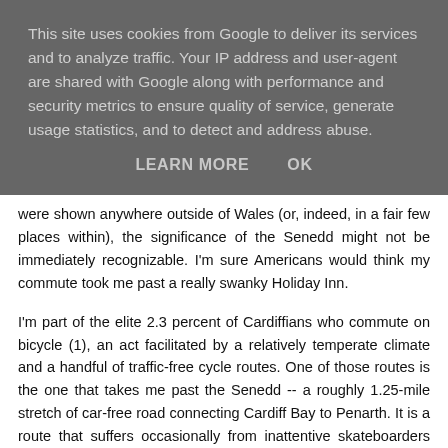This site uses cookies from Google to deliver its services and to analyze traffic. Your IP address and user-agent are shared with Google along with performance and security metrics to ensure quality of service, generate usage statistics, and to detect and address abuse.
LEARN MORE    OK
were shown anywhere outside of Wales (or, indeed, in a fair few places within), the significance of the Senedd might not be immediately recognizable. I'm sure Americans would think my commute took me past a really swanky Holiday Inn.
I'm part of the elite 2.3 percent of Cardiffians who commute on bicycle (1), an act facilitated by a relatively temperate climate and a handful of traffic-free cycle routes. One of those routes is the one that takes me past the Senedd -- a roughly 1.25-mile stretch of car-free road connecting Cardiff Bay to Penarth. It is a route that suffers occasionally from inattentive skateboarders and frequently from strong gusts of wind that cut across the bay and Severn Channel, but those things are tolerable given the absence of speeding multi-ton